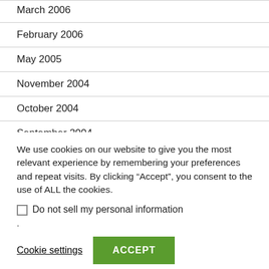March 2006
February 2006
May 2005
November 2004
October 2004
September 2004
We use cookies on our website to give you the most relevant experience by remembering your preferences and repeat visits. By clicking “Accept”, you consent to the use of ALL the cookies.
Do not sell my personal information
.
Cookie settings
ACCEPT